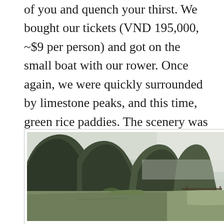of you and quench your thirst. We bought our tickets (VND 195,000, ~$9 per person) and got on the small boat with our rower. Once again, we were quickly surrounded by limestone peaks, and this time, green rice paddies. The scenery was serene, as we passed the 3 caves, paddlings of ducks, and not a single other boat.
[Figure (photo): A river scene surrounded by tall limestone karst peaks covered in green vegetation, with reflections visible in the calm greenish water. Appears to be Tam Coc, Ninh Binh, Vietnam.]